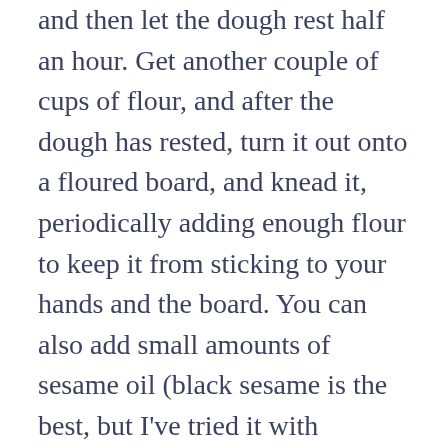and then let the dough rest half an hour. Get another couple of cups of flour, and after the dough has rested, turn it out onto a floured board, and knead it, periodically adding enough flour to keep it from sticking to your hands and the board. You can also add small amounts of sesame oil (black sesame is the best, but I've tried it with Kadoya hot chili oil and it was pretty good) during this part, and you'll find it will continue to soak up flour. You want to achieve a consistency somewhere between a dead jellyfish and modelling clay. Reflour your board and place a golf ball sized piece of the dough on it, roll it out fairly flat (at or slightly